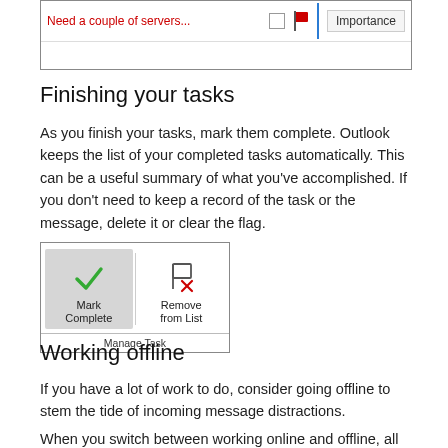[Figure (screenshot): Outlook task row showing 'Need a couple of servers...' in red text, a checkbox, a red flag icon, a blue vertical divider, and an 'Importance' button on the right.]
Finishing your tasks
As you finish your tasks, mark them complete. Outlook keeps the list of your completed tasks automatically. This can be a useful summary of what you've accomplished. If you don't need to keep a record of the task or the message, delete it or clear the flag.
[Figure (screenshot): Outlook ribbon section showing 'Mark Complete' button (with green checkmark) and 'Remove from List' button (with flag and red X), grouped under 'Manage Task' label.]
Working offline
If you have a lot of work to do, consider going offline to stem the tide of incoming message distractions.
When you switch between working online and offline, all email